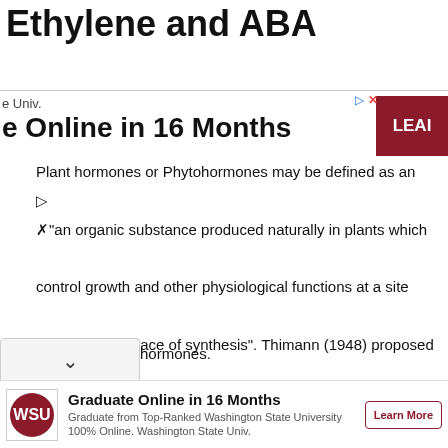Ethylene and ABA
e Univ.
e Online in 16 Months
Plant hormones or Phytohormones may be defined as an "an organic substance produced naturally in plants which control growth and other physiological functions at a site away from its place of synthesis". Thimann (1948) proposed the term phytohormones. As these hormones are synthesis by plants, they are also called hormones.
[Figure (advertisement): WSU Graduate Online in 16 Months advertisement with Washington State University logo and Learn More button]
Graduate Online in 16 Months
Graduate from Top-Ranked Washington State University 100% Online. Washington State Univ.